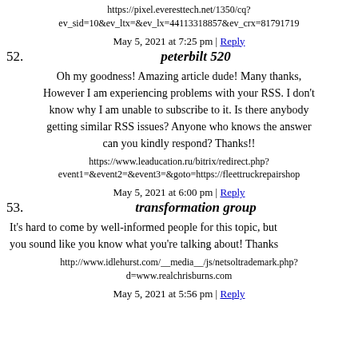https://pixel.everesttech.net/1350/cq?ev_sid=10&ev_ltx=&ev_lx=44113318857&ev_crx=81791719
May 5, 2021 at 7:25 pm | Reply
52. peterbilt 520
Oh my goodness! Amazing article dude! Many thanks, However I am experiencing problems with your RSS. I don't know why I am unable to subscribe to it. Is there anybody getting similar RSS issues? Anyone who knows the answer can you kindly respond? Thanks!!
https://www.leaducation.ru/bitrix/redirect.php?event1=&event2=&event3=&goto=https://fleettruckrepairshop
May 5, 2021 at 6:00 pm | Reply
53. transformation group
It's hard to come by well-informed people for this topic, but you sound like you know what you're talking about! Thanks
http://www.idlehurst.com/__media__/js/netsoltrademark.php?d=www.realchrisburns.com
May 5, 2021 at 5:56 pm | Reply